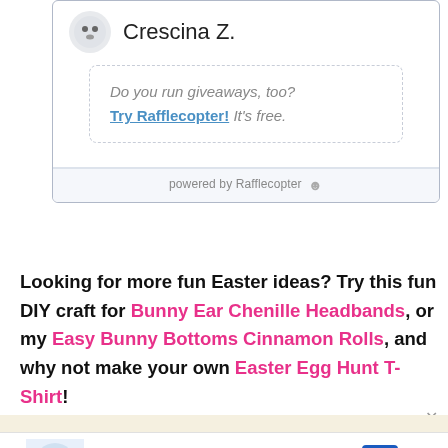[Figure (screenshot): Rafflecopter giveaway widget showing user avatar for Crescina Z. with a dashed prompt box reading 'Do you run giveaways, too? Try Rafflecopter! It's free.' and a footer 'powered by Rafflecopter']
Looking for more fun Easter ideas? Try this fun DIY craft for Bunny Ear Chenille Headbands, or my Easy Bunny Bottoms Cinnamon Rolls, and why not make your own Easter Egg Hunt T-Shirt!
[Figure (screenshot): Walgreens advertisement banner: BOGO 50% Off Select Walgreens Brand Wellness Products]